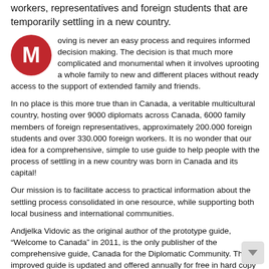workers, representatives and foreign students that are temporarily settling in a new country.
Moving is never an easy process and requires informed decision making. The decision is that much more complicated and monumental when it involves uprooting a whole family to new and different places without ready access to the support of extended family and friends.
In no place is this more true than in Canada, a veritable multicultural country, hosting over 9000 diplomats across Canada, 6000 family members of foreign representatives, approximately 200.000 foreign students and over 330.000 foreign workers. It is no wonder that our idea for a comprehensive, simple to use guide to help people with the process of settling in a new country was born in Canada and its capital!
Our mission is to facilitate access to practical information about the settling process consolidated in one resource, while supporting both local business and international communities.
Andjelka Vidovic as the original author of the prototype guide, “Welcome to Canada” in 2011, is the only publisher of the comprehensive guide, Canada for the Diplomatic Community. This improved guide is updated and offered annually for free in hard copy to the diplomatic communities